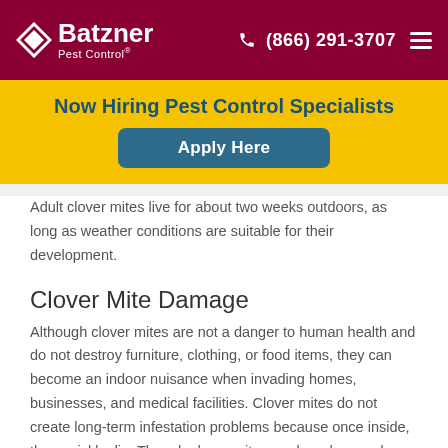Batzner Pest Control | (866) 291-3707
Now Hiring Pest Control Specialists
Apply Here
Adult clover mites live for about two weeks outdoors, as long as weather conditions are suitable for their development.
Clover Mite Damage
Although clover mites are not a danger to human health and do not destroy furniture, clothing, or food items, they can become an indoor nuisance when invading homes, businesses, and medical facilities. Clover mites do not create long-term infestation problems because once inside, they quickly die. Though clover mites are harmless and